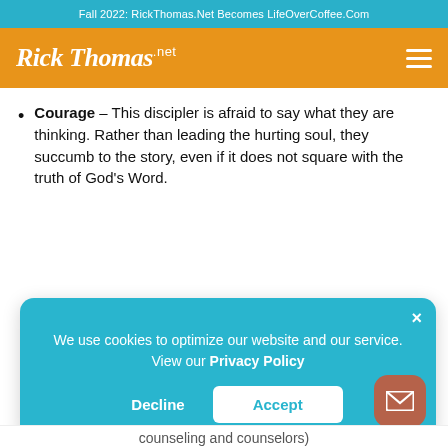Fall 2022: RickThomas.Net Becomes LifeOverCoffee.Com
[Figure (logo): Rick Thomas .net logo in white script on orange navigation bar with hamburger menu icon]
Courage – This discipler is afraid to say what they are thinking. Rather than leading the hurting soul, they succumb to the story, even if it does not square with the truth of God's Word.
We use cookies to optimize our website and our service. View our Privacy Policy
Decline  Accept
counseling and counselors)